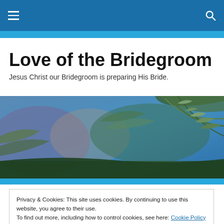Navigation bar with hamburger menu icon and search icon
Love of the Bridegroom
Jesus Christ our Bridegroom is preparing His Bride.
[Figure (photo): A wide nature photograph showing ferns and leafy green plants against a blue-toned background, used as a hero banner image.]
Privacy & Cookies: This site uses cookies. By continuing to use this website, you agree to their use.
To find out more, including how to control cookies, see here: Cookie Policy
Close and accept